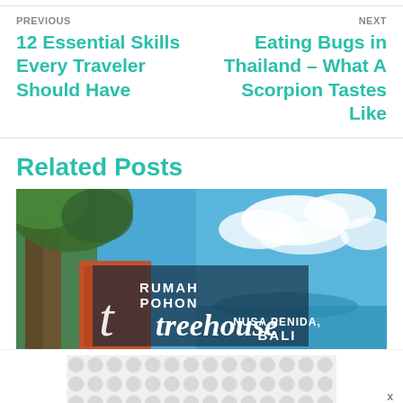PREVIOUS
12 Essential Skills Every Traveler Should Have
NEXT
Eating Bugs in Thailand – What A Scorpion Tastes Like
Related Posts
[Figure (photo): Promotional image for Rumah Pohon Treehouse in Nusa Penida, Bali showing a treehouse with trees and blue sky with text overlay]
[Figure (other): Advertisement banner with repeating circular dot pattern]